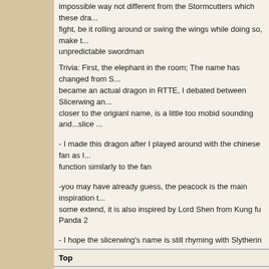impossible way not different from the Stormcutters which these dra... fight, be it rolling around or swing the wings while doing so, make t... unpredictable swordman
Trivia: First, the elephant in the room; The name has changed from S... became an actual dragon in RTTE, I debated between Slicerwing an... closer to the origianl name, is a little too mobid sounding and...slice ...
- I made this dragon after I played around with the chinese fan as I... function similarly to the fan
-you may have already guess, the peacock is the main inspiration t... some extend, it is also inspired by Lord Shen from Kung fu Panda 2
- I hope the slicerwing's name is still rhyming with Slytherin
Top
Sun, 09/10/2017 - 07:31
chameishida    Joined: 08/01/2014
Offline
Supreme Viking Champion
#17 Slackerish Sluggish